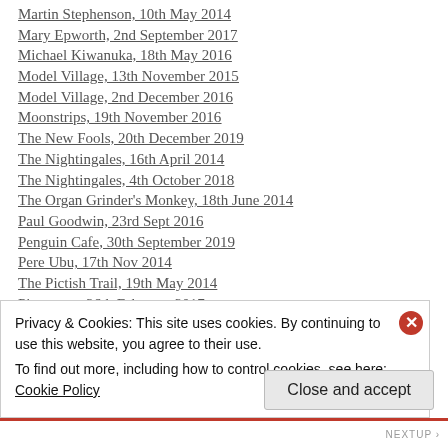Martin Stephenson, 10th May 2014
Mary Epworth, 2nd September 2017
Michael Kiwanuka, 18th May 2016
Model Village, 13th November 2015
Model Village, 2nd December 2016
Moonstrips, 19th November 2016
The New Fools, 20th December 2019
The Nightingales, 16th April 2014
The Nightingales, 4th October 2018
The Organ Grinder's Monkey, 18th June 2014
Paul Goodwin, 23rd Sept 2016
Penguin Cafe, 30th September 2019
Pere Ubu, 17th Nov 2014
The Pictish Trail, 19th May 2014
Pinegrove, 26th February 2017
Pip Blom, 29th May 2019
The Pogues, 14th June 2014
Pop Level Showcase, 27th September 2019
The Proclaimers, 4th November 2015
Psychic Lemon, 13th Dec 2014
Psychic Lemon, 16th May 2015
Psychic Lemon, 2nd Sept 2016
Privacy & Cookies: This site uses cookies. By continuing to use this website, you agree to their use.
To find out more, including how to control cookies, see here: Cookie Policy
Close and accept